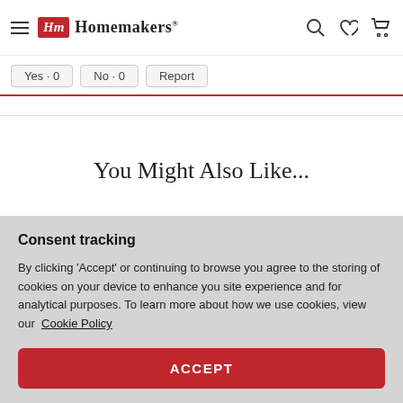Homemakers
Yes  0   No  0   Report
You Might Also Like...
[Figure (screenshot): Product cards partially visible: one with HM OUTLET badge in teal, another card with tan/brown background]
Consent tracking
By clicking 'Accept' or continuing to browse you agree to the storing of cookies on your device to enhance you site experience and for analytical purposes. To learn more about how we use cookies, view our Cookie Policy
ACCEPT